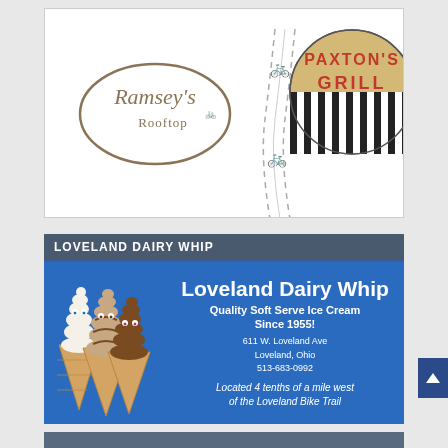[Figure (illustration): Advertisement panel showing Ramsey's Rooftop logo (oval with text) on the left, a road with bicycle icons in the center, and Paxton's Grill logo (circular with black and white stripes at bottom) on the right, all on white background.]
[Figure (illustration): Loveland Dairy Whip advertisement. Dark blue-gray header bar reading 'LOVELAND DAIRY WHIP'. Blue body with three soft-serve ice cream cone characters (with eyes) on the left. Right side has large white bold text 'Loveland Dairy Whip', subtext 'Quality Soft Serve Ice Cream Since 1955!', address '611 W. Loveland Ave, Loveland, Ohio, 513-683-0992', and italic text 'Located 4 tenths of a mile west of the Loveland Bike Trail'.]
[Figure (illustration): Partial view of another advertisement panel at bottom of page, dark blue-gray color.]